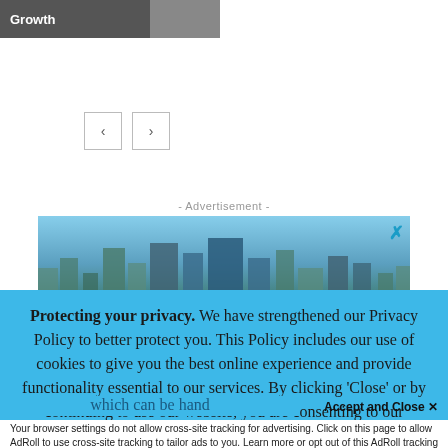[Figure (screenshot): Thumbnail image with label 'Growth' overlaid on dark background with partial image]
[Figure (illustration): Navigation arrow buttons: left arrow and right arrow in bordered boxes]
- Advertisement -
[Figure (photo): Advertisement photo of a city skyline (appears to be Nashville) with text overlay reading 'DON'T JUST MAKE HISTORY.' and a close X button]
Protecting your privacy. We have strengthened our Privacy Policy to better protect you. This Policy includes our use of cookies to give you the best online experience and provide functionality essential to our services. By clicking 'Close' or by continuing to use our website, you are consenting to our
which can be hand
Accept and Close ✕
Your browser settings do not allow cross-site tracking for advertising. Click on this page to allow AdRoll to use cross-site tracking to tailor ads to you. Learn more or opt out of this AdRoll tracking by clicking here. This message only appears once.